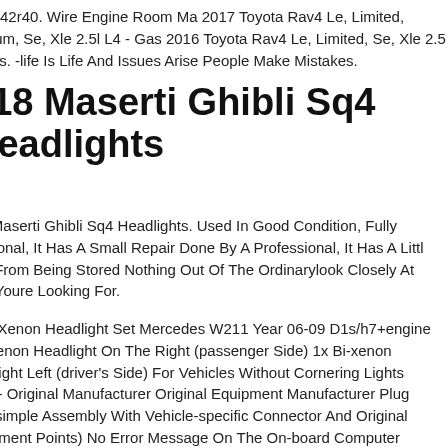111-42r40. Wire Engine Room Ma 2017 Toyota Rav4 Le, Limited, Platinum, Se, Xle 2.5l L4 - Gas 2016 Toyota Rav4 Le, Limited, Se, Xle 2.5 - Gas. -life Is Life And Issues Arise People Make Mistakes.
018 Maserti Ghibli Sq4 Headlights h
18 Maserti Ghibli Sq4 Headlights. Used In Good Condition, Fully Inctional, It Has A Small Repair Done By A Professional, It Has A Littl ust From Being Stored Nothing Out Of The Ordinarylook Closely At hat Youre Looking For.
ella Xenon Headlight Set Mercedes W211 Year 06-09 D1s/h7+engine Bi-xenon Headlight On The Right (passenger Side) 1x Bi-xenon eadlight Left (driver's Side) For Vehicles Without Cornering Lights ella - Original Manufacturer Original Equipment Manufacturer Plug ay (simple Assembly With Vehicle-specific Connector And Original tachment Points) No Error Message On The On-board Computer 2118201661 A2118201561 A2118202661 A2118204761 2118201661